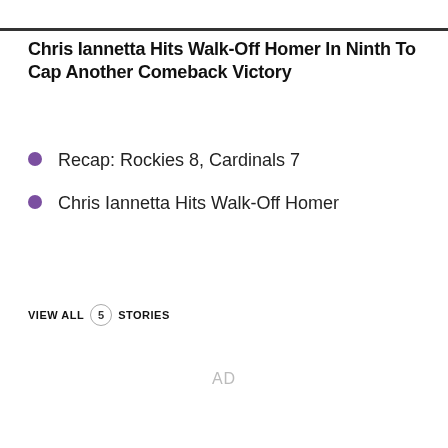Chris Iannetta Hits Walk-Off Homer In Ninth To Cap Another Comeback Victory
Recap: Rockies 8, Cardinals 7
Chris Iannetta Hits Walk-Off Homer
VIEW ALL 5 STORIES
AD